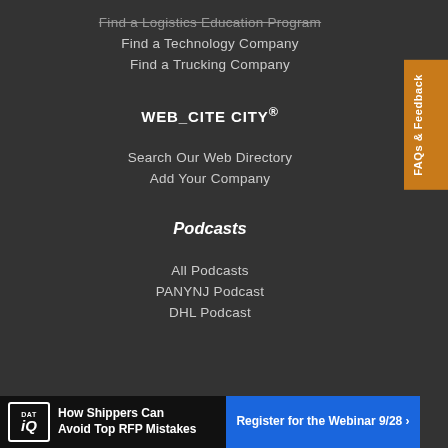Find a Logistics Education Program
Find a Technology Company
Find a Trucking Company
WEB_CITE CITY®
Search Our Web Directory
Add Your Company
Podcasts
All Podcasts
PANYNJ Podcast
DHL Podcast
Digital Editions >
[Figure (other): FAQs & Feedback vertical sidebar tab in orange]
[Figure (other): Advertisement banner: DAT iQ - How Shippers Can Avoid Top RFP Mistakes. Register for the Webinar 9/28 >]